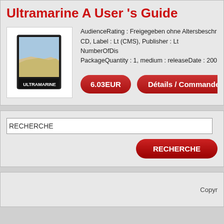Ultramarine A User 's Guide
AudienceRating : Freigegeben ohne Altersbeschr... CD, Label : Lt (CMS), Publisher : Lt NumberOfDis... PackageQuantity : 1, medium : releaseDate : 200...
6.03EUR
Détails / Commande
RECHERCHE
RECHERCHE
Copyr...